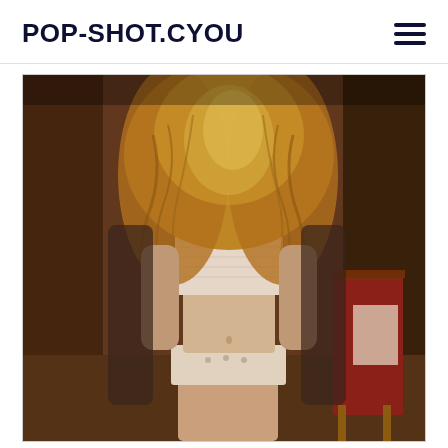POP-SHOT.CYOU
[Figure (photo): A woman with long curly blonde hair wearing a white crop top and white underwear stands in front of a dark background with a red director's chair visible to the right. The photo appears to be a vintage or retro-style photograph.]